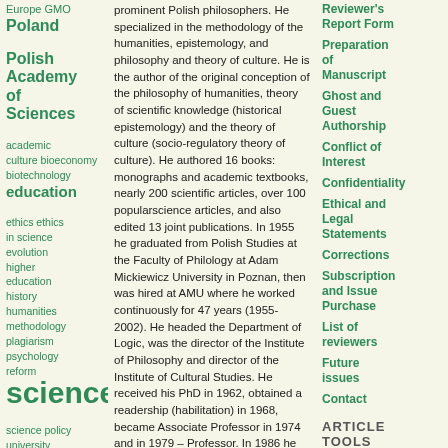Europe
GMO
Poland
Polish Academy of Sciences
academic culture
bioeconomy
biotechnology
education
ethics
ethics in science
evolution
higher education
history
humanities
methodology
plagiarism
psychology
reform
science
science policy
university
prominent Polish philosophers. He specialized in the methodology of the humanities, epistemology, and philosophy and theory of culture. He is the author of the original conception of the philosophy of humanities, theory of scientific knowledge (historical epistemology) and the theory of culture (socio-regulatory theory of culture). He authored 16 books: monographs and academic textbooks, nearly 200 scientific articles, over 100 popularscience articles, and also edited 13 joint publications. In 1955 he graduated from Polish Studies at the Faculty of Philology at Adam Mickiewicz University in Poznan, then was hired at AMU where he worked continuously for 47 years (1955-2002). He headed the Department of Logic, was the director of the Institute of Philosophy and director of the Institute of Cultural Studies. He received his PhD in 1962, obtained a readership (habilitation) in 1968, became Associate Professor in 1974 and in 1979 – Professor. In 1986 he became Corresponding Member of the Polish Academy of Sciences (PAS), in 1994 – Real Member. He participated in the PAS Committee for Philosophy, he was member of the PAS Science of Science Committee and PAS Committee on Cultural Studies. He was a member of several scientific societies: International Union of History and Philosophy of Science, Polish Philosophical Society, Polish Semiotic Society, Poznan Society of Friends of Sciences. He participated in the work of editorial boards of scientific
Reviewer's Report Form
Preparation of Manuscript
Ghost and Guest Authorship
Conflict of Interest
Confidentiality
Ethical and Legal Statements
Corrections
Subscription and Issue Purchase
List of reviewers
Future issues
Contact
ARTICLE TOOLS